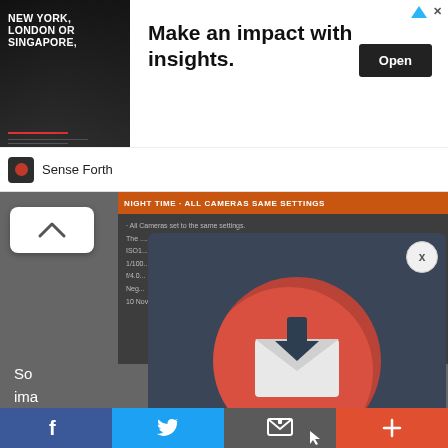[Figure (screenshot): Advertisement banner with image of a speaker at a conference in a dark backdrop with 'NEW YORK, LONDON OR SINGAPORE' text, headline 'Make an impact with insights.' and an 'Open' CTA button. Brand name 'Sense Forth' shown below.]
[Figure (screenshot): Dark webpage content area showing a blog post about camera night time settings, partially obscured by a modal popup dialog with a red circle containing an envelope/download icon and text 'Subscribe to our'. A close 'x' button appears in the top right of the modal.]
[Figure (infographic): Bottom social sharing bar with four buttons: Facebook (blue), Twitter (blue), Email/share (grey), and More/plus (red-orange).]